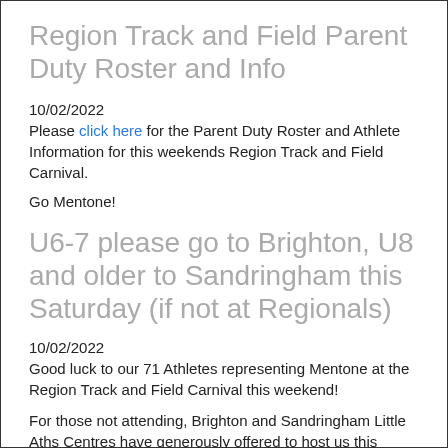Region Track and Field Parent Duty Roster and Info
10/02/2022
Please click here for the Parent Duty Roster and Athlete Information for this weekends Region Track and Field Carnival.
Go Mentone!
U6-7 please go to Brighton, U8 and older to Sandringham this Saturday (if not at Regionals)
10/02/2022
Good luck to our 71 Athletes representing Mentone at the Region Track and Field Carnival this weekend!
For those not attending, Brighton and Sandringham Little Aths Centres have generously offered to host us this Saturday, however they both have large groups so we would like to split up between them wherever possible.
U6 and U7 Families please go to Brighton - Dendy Park from